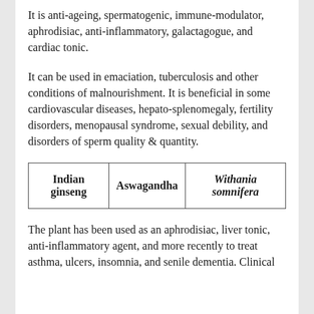It is anti-ageing, spermatogenic, immune-modulator, aphrodisiac, anti-inflammatory, galactagogue, and cardiac tonic.
It can be used in emaciation, tuberculosis and other conditions of malnourishment. It is beneficial in some cardiovascular diseases, hepato-splenomegaly, fertility disorders, menopausal syndrome, sexual debility, and disorders of sperm quality & quantity.
| Indian ginseng | Aswagandha | Withania somnifera |
| --- | --- | --- |
The plant has been used as an aphrodisiac, liver tonic, anti-inflammatory agent, and more recently to treat asthma, ulcers, insomnia, and senile dementia. Clinical